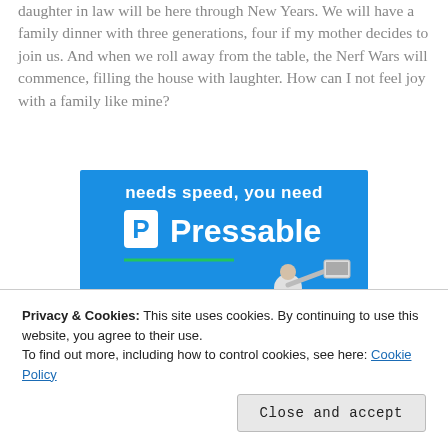daughter in law will be here through New Years. We will have a family dinner with three generations, four if my mother decides to join us. And when we roll away from the table, the Nerf Wars will commence, filling the house with laughter. How can I not feel joy with a family like mine?
[Figure (screenshot): Advertisement banner for Pressable hosting. Blue background with white bold text reading 'needs speed, you need' on top and large 'P Pressable' logo/text below. A green underline element and a person leaping with a laptop are visible.]
Privacy & Cookies: This site uses cookies. By continuing to use this website, you agree to their use.
To find out more, including how to control cookies, see here: Cookie Policy
Close and accept